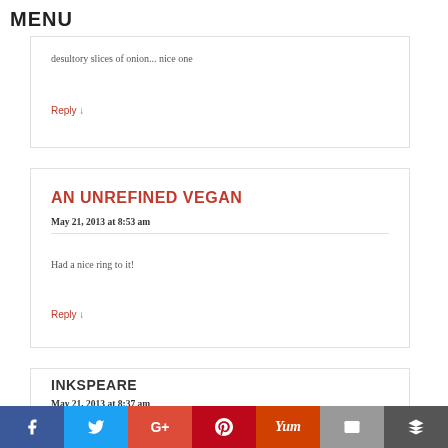MENU
desultory slices of onion... nice one
Reply ↓
AN UNREFINED VEGAN
May 21, 2013 at 8:53 am
Had a nice ring to it!
Reply ↓
INKSPEARE
May 21, 2013 at 8:37 am